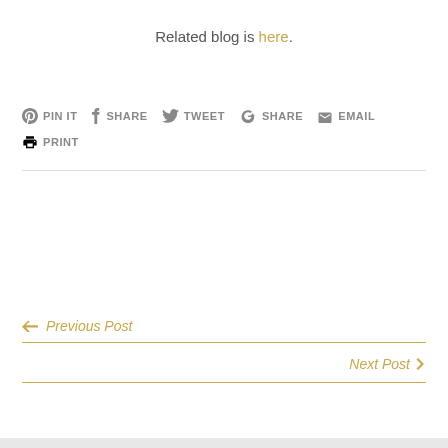Related blog is here.
PIN IT  SHARE  TWEET  SHARE  EMAIL  PRINT
← Previous Post
Next Post >